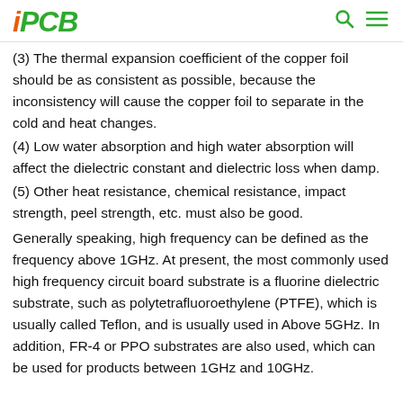iPCB
(3) The thermal expansion coefficient of the copper foil should be as consistent as possible, because the inconsistency will cause the copper foil to separate in the cold and heat changes.
(4) Low water absorption and high water absorption will affect the dielectric constant and dielectric loss when damp.
(5) Other heat resistance, chemical resistance, impact strength, peel strength, etc. must also be good.
Generally speaking, high frequency can be defined as the frequency above 1GHz. At present, the most commonly used high frequency circuit board substrate is a fluorine dielectric substrate, such as polytetrafluoroethylene (PTFE), which is usually called Teflon, and is usually used in Above 5GHz. In addition, FR-4 or PPO substrates are also used, which can be used for products between 1GHz and 10GHz.